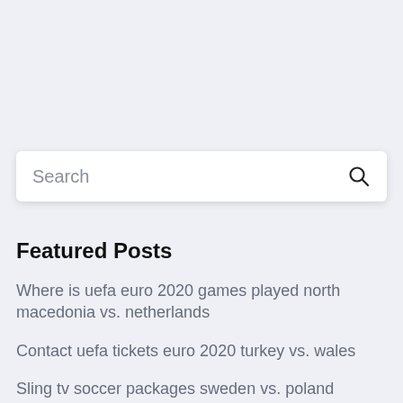[Figure (screenshot): Search input box with placeholder text 'Search' and a magnifying glass icon on the right]
Featured Posts
Where is uefa euro 2020 games played north macedonia vs. netherlands
Contact uefa tickets euro 2020 turkey vs. wales
Sling tv soccer packages sweden vs. poland
Euro 2020 qualifiers iceland denmark vs. belgium